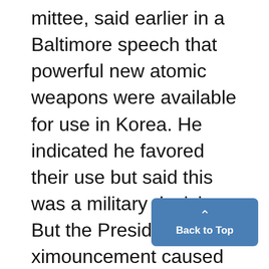mittee, said earlier in a Baltimore speech that powerful new atomic weapons were available for use in Korea. He indicated he favored their use but said this was a military decision. But the President's ximouncement caused another atomic committeeman, Rep. Van Zandt (R-Penn.), to conclude that the Soviet explosion had been known for several weeks. "It explains why we have not used ator.ic weapons Korea."